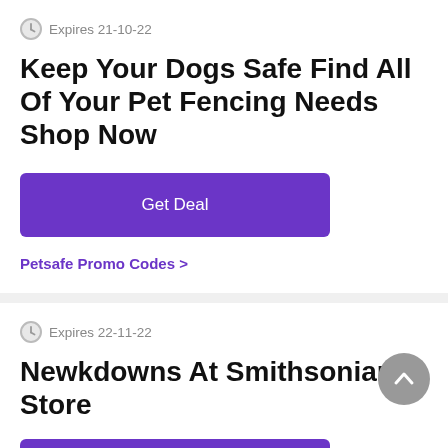Expires 21-10-22
Keep Your Dogs Safe Find All Of Your Pet Fencing Needs Shop Now
Get Deal
Petsafe Promo Codes >
Expires 22-11-22
Newkdowns At Smithsonian Store
Get Deal